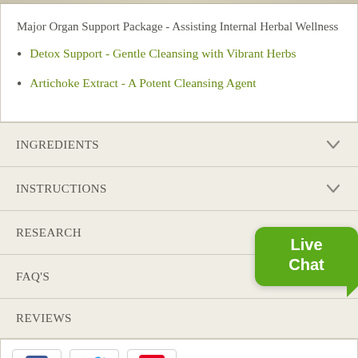Major Organ Support Package - Assisting Internal Herbal Wellness
Detox Support - Gentle Cleansing with Vibrant Herbs
Artichoke Extract - A Potent Cleansing Agent
INGREDIENTS
INSTRUCTIONS
RESEARCH
FAQ'S
REVIEWS
[Figure (other): Live Chat bubble button (green rounded rectangle with white bold text 'Live Chat')]
[Figure (other): Social sharing buttons row: Facebook (blue 'f' icon), Twitter (blue bird icon), Pinterest (red 'P' icon)]